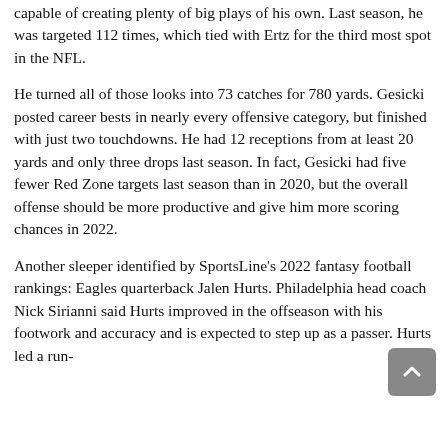capable of creating plenty of big plays of his own. Last season, he was targeted 112 times, which tied with Ertz for the third most spot in the NFL.
He turned all of those looks into 73 catches for 780 yards. Gesicki posted career bests in nearly every offensive category, but finished with just two touchdowns. He had 12 receptions from at least 20 yards and only three drops last season. In fact, Gesicki had five fewer Red Zone targets last season than in 2020, but the overall offense should be more productive and give him more scoring chances in 2022.
Another sleeper identified by SportsLine's 2022 fantasy football rankings: Eagles quarterback Jalen Hurts. Philadelphia head coach Nick Sirianni said Hurts improved in the offseason with his footwork and accuracy and is expected to step up as a passer. Hurts led a run-